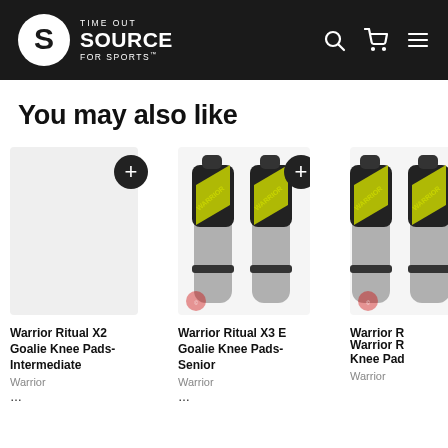TIME OUT SOURCE FOR SPORTS
You may also like
[Figure (photo): Warrior Ritual X2 Goalie Knee Pads - Intermediate product (no image shown, empty card with + button)]
[Figure (photo): Warrior Ritual X3 E Goalie Knee Pads - Senior: black and grey goalie knee pads with yellow Warrior branding]
[Figure (photo): Warrior Ritual (model partially cut off) Goalie Knee Pads: black and grey goalie knee pads with yellow Warrior branding, partially visible]
Warrior Ritual X2 Goalie Knee Pads- Intermediate
Warrior
Warrior Ritual X3 E Goalie Knee Pads- Senior
Warrior
Warrior R... Knee Pad...
Warrior